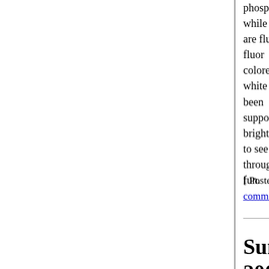phosphorescent paint quicklier th... while light. Also, I discovered that te... are fluorescent, as well as soap (but n... fluor toothpaste), white paper, ma... colored plastics in children's toys a... white cloths (including those which ha... been washed with washing pow... supposed not to contain opti... brighteners). Also, the UV lamp allo... to see the pattern of the mattre... through the bedsheet. UV light is lots... fun.
[ Posted on October 13th, 2007 at 22:53 | comment | permanent link ]
Sunday, October 7th, 2007
Dice Tower Glued
Categories: [ D...